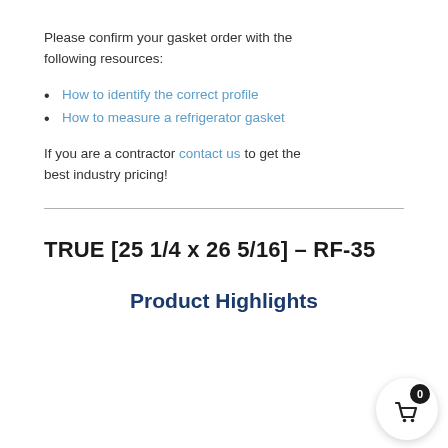Please confirm your gasket order with the following resources:
How to identify the correct profile
How to measure a refrigerator gasket
If you are a contractor contact us to get the best industry pricing!
TRUE [25 1/4 x 26 5/16] – RF-35
Product Highlights